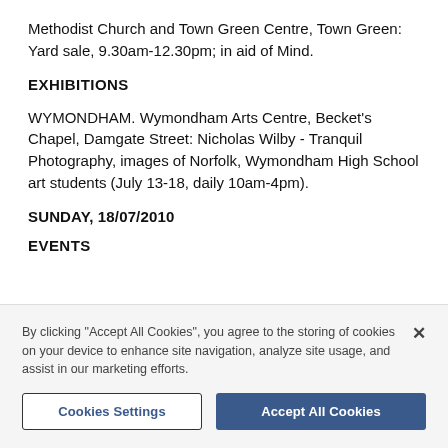Methodist Church and Town Green Centre, Town Green: Yard sale, 9.30am-12.30pm; in aid of Mind.
EXHIBITIONS
WYMONDHAM. Wymondham Arts Centre, Becket's Chapel, Damgate Street: Nicholas Wilby - Tranquil Photography, images of Norfolk, Wymondham High School art students (July 13-18, daily 10am-4pm).
SUNDAY, 18/07/2010
EVENTS
By clicking "Accept All Cookies", you agree to the storing of cookies on your device to enhance site navigation, analyze site usage, and assist in our marketing efforts.